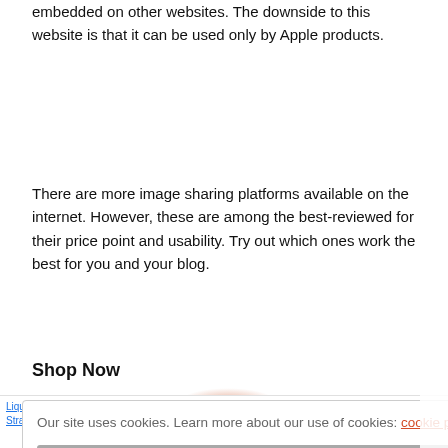embedded on other websites. The downside to this website is that it can be used only by Apple products.
There are more image sharing platforms available on the internet. However, these are among the best-reviewed for their price point and usability. Try out which ones work the best for you and your blog.
Shop Now
Our site uses cookies. Learn more about our use of cookies: cookie policy
I ACCEPT USE OF COOKIES
[Figure (photo): Two Lysol Disinfectant Spray cans with light blue label, partially visible on right side]
Scroll To Top
Liquid IV Hydration Multiplier - Strawb...
Smart Watch for Women, AGRTEK...
Lysol Disinfectant Spray, Sanitizin...